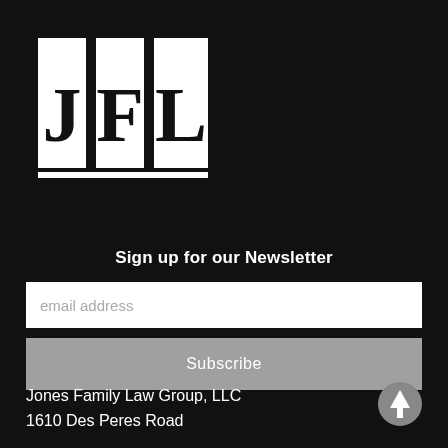[Figure (logo): JFL logo — three white rectangular letter blocks (J, F, L) on black background, serif capital letters]
Sign up for our Newsletter
email address
Subscribe
Jones Family Law Group, LLC
1610 Des Peres Road